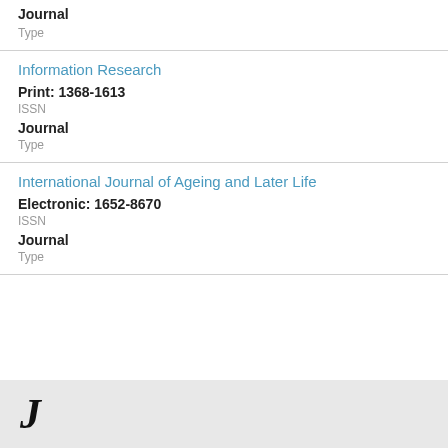Journal
Type
Information Research
Print: 1368-1613
ISSN
Journal
Type
International Journal of Ageing and Later Life
Electronic: 1652-8670
ISSN
Journal
Type
J